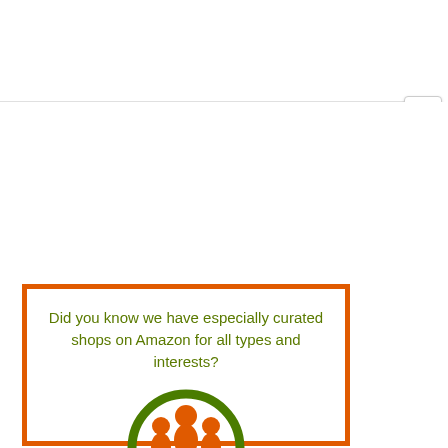[Figure (screenshot): White background area above a horizontal divider line, representing a browser or app UI chrome area]
[Figure (other): Close button (X) in top right corner of a dialog/popup]
Did you know we have especially curated shops on Amazon for all types and interests?
[Figure (logo): Circular logo with green ring and orange figure/people icons inside, partially visible at bottom of ad box]